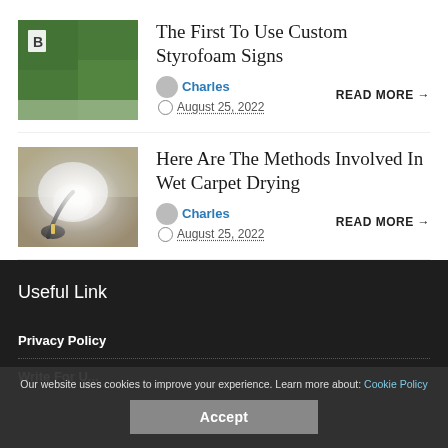[Figure (photo): Thumbnail image of a decorative green hedge wall with a white letter B sign]
The First To Use Custom Styrofoam Signs
Charles · August 25, 2022
READ MORE →
[Figure (photo): Thumbnail image of a vacuum/steam cleaner on a wet carpet with steam rising]
Here Are The Methods Involved In Wet Carpet Drying
Charles · August 25, 2022
READ MORE →
Useful Link
Privacy Policy
Write For Us
Our website uses cookies to improve your experience. Learn more about: Cookie Policy
Accept